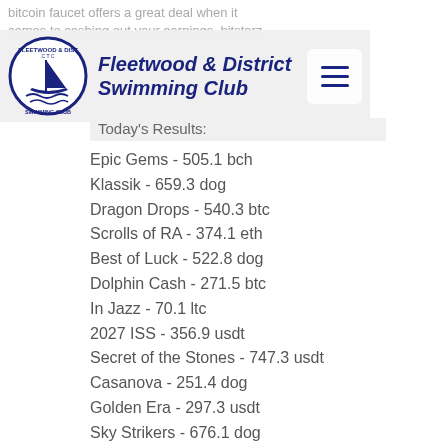bitcoin faucet offers a great deal when it comes to cashing out your earnings, bitstarz
Fleetwood & District Swimming Club
Today's Results:
Epic Gems - 505.1 bch
Klassik - 659.3 dog
Dragon Drops - 540.3 btc
Scrolls of RA - 374.1 eth
Best of Luck - 522.8 dog
Dolphin Cash - 271.5 btc
In Jazz - 70.1 ltc
2027 ISS - 356.9 usdt
Secret of the Stones - 747.3 usdt
Casanova - 251.4 dog
Golden Era - 297.3 usdt
Sky Strikers - 676.1 dog
Good Girl Bad Girl - 521.5 eth
7 Sins - 406.8 bch
Sapphire Lagoon - 471.8 usdt